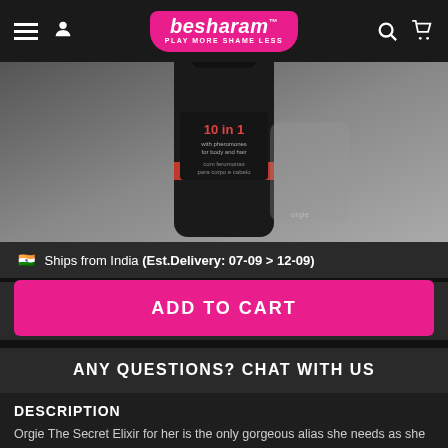besharam™ PLAY MORE SHAME LESS
[Figure (photo): Dark bottle product photo - 10 in 1 with pheromones for body and hair]
🇮🇳 Ships from India (Est.Delivery: 07-09 > 12-09)
ADD TO CART
ANY QUESTIONS? CHAT WITH US
DESCRIPTION
Orgie The Secret Elixir for her is the only gorgeous alias she needs as she surfs through pleasure waves. Especially created for women who own their pleasure, this elixir is a synthesis of functionality and seduction that holds the secret powers of spicing up your bedroom. A little bit of this life-saving liquid will refresh your skin